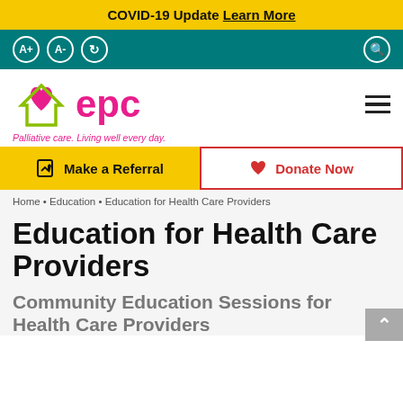COVID-19 Update Learn More
[Figure (logo): EPC logo with heart and house icon, text 'epc', tagline 'Palliative care. Living well every day.']
Make a Referral
Donate Now
Home • Education • Education for Health Care Providers
Education for Health Care Providers
Community Education Sessions for Health Care Providers